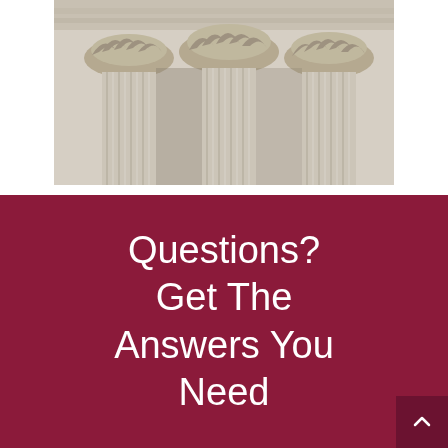[Figure (photo): Close-up photograph of classical Corinthian stone columns with ornate carved capitals supporting an entablature, viewed from below looking up.]
Questions? Get The Answers You Need